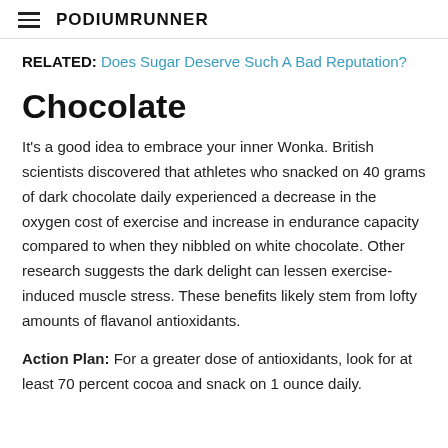PodiumRunner
RELATED: Does Sugar Deserve Such A Bad Reputation?
Chocolate
It's a good idea to embrace your inner Wonka. British scientists discovered that athletes who snacked on 40 grams of dark chocolate daily experienced a decrease in the oxygen cost of exercise and increase in endurance capacity compared to when they nibbled on white chocolate. Other research suggests the dark delight can lessen exercise-induced muscle stress. These benefits likely stem from lofty amounts of flavanol antioxidants.
Action Plan: For a greater dose of antioxidants, look for at least 70 percent cocoa and snack on 1 ounce daily.